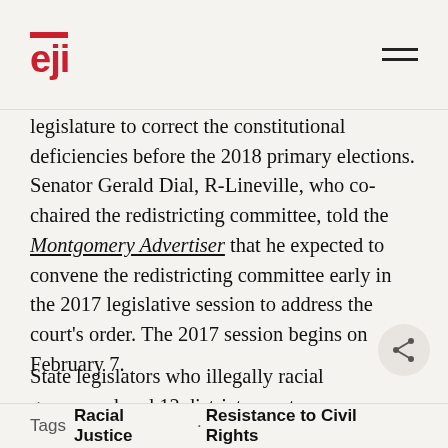EJI
legislature to correct the constitutional deficiencies before the 2018 primary elections. Senator Gerald Dial, R-Lineville, who co-chaired the redistricting committee, told the Montgomery Advertiser that he expected to convene the redistricting committee early in the 2017 legislative session to address the court's order. The 2017 session begins on February 7.
State legislators who illegally racial gerrymandered 12 districts must now redraw those boundaries.
Tags: Racial Justice · Resistance to Civil Rights